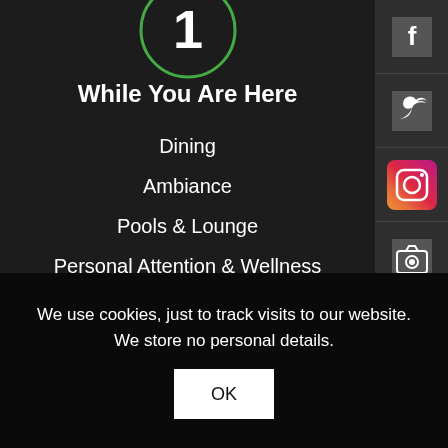[Figure (illustration): Green circle with number 1 icon at top]
While You Are Here
Dining
Ambiance
Pools & Lounge
Personal Attention & Wellness
[Figure (illustration): Orange circle with book/notepad icon]
[Figure (illustration): Sidebar with social media icons: Facebook, Twitter, Instagram, Camera, YouTube, Apple]
We use cookies, just to track visits to our website. We store no personal details.
OK